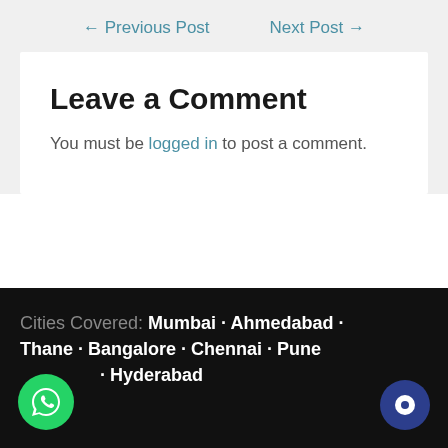← Previous Post
Next Post →
Leave a Comment
You must be logged in to post a comment.
Cities Covered: Mumbai · Ahmedabad · Thane · Bangalore · Chennai · Pune · Hyderabad